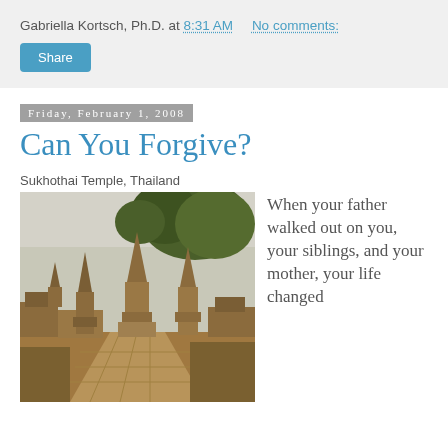Gabriella Kortsch, Ph.D. at 8:31 AM    No comments:
Share
Friday, February 1, 2008
Can You Forgive?
Sukhothai Temple, Thailand
[Figure (photo): Photo of Sukhothai Temple ruins in Thailand, showing ancient brick stupas and a brick-paved pathway lined with stone ruins, with green trees in the background and overcast sky.]
When your father walked out on you, your siblings, and your mother, your life changed